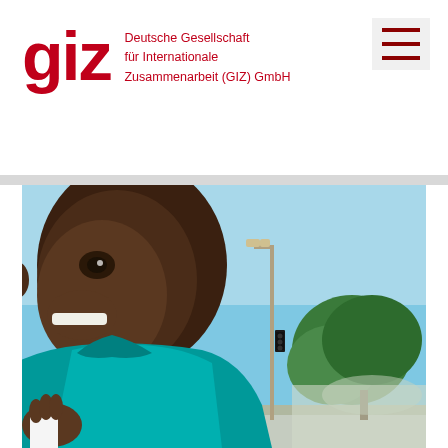giz — Deutsche Gesellschaft für Internationale Zusammenarbeit (GIZ) GmbH
[Figure (photo): A smiling man wearing a teal/turquoise polo shirt holding a white object (possibly a phone or cup), photographed outdoors with a blue sky, a tall street lamp, and a green tree in the background.]